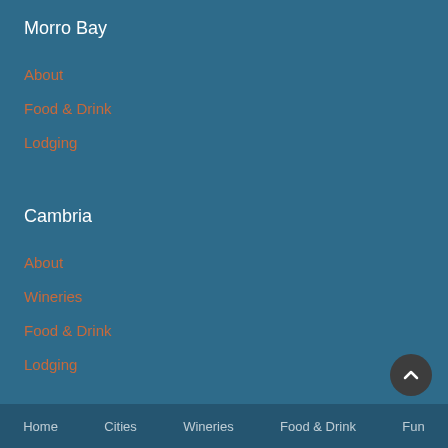Morro Bay
About
Food & Drink
Lodging
Cambria
About
Wineries
Food & Drink
Lodging
Home   Cities   Wineries   Food & Drink   Fun